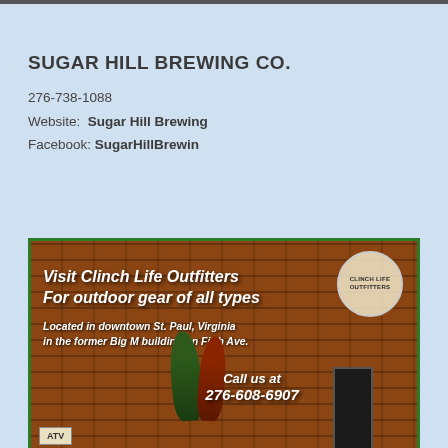SUGAR HILL BREWING CO.
276-738-1088
Website: Sugar Hill Brewing
Facebook: SugarHillBrewin
[Figure (photo): Advertisement for Clinch Life Outfitters showing a brick building storefront with text overlay. Text reads: Visit Clinch Life Outfitters For outdoor gear of all types. Located in downtown St. Paul, Virginia in the former Big M building on Fifth Ave. Call us at 276-608-6907. An ATV sign is visible at the bottom left, kayaks are displayed outside.]